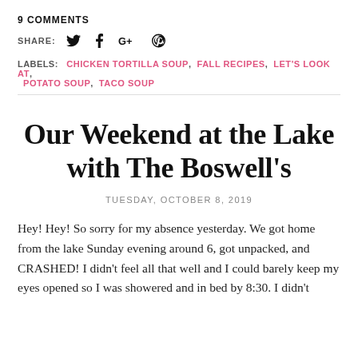9 COMMENTS
SHARE:
LABELS:  CHICKEN TORTILLA SOUP,  FALL RECIPES,  LET'S LOOK AT,  POTATO SOUP,  TACO SOUP
Our Weekend at the Lake with The Boswell's
TUESDAY, OCTOBER 8, 2019
Hey! Hey! So sorry for my absence yesterday. We got home from the lake Sunday evening around 6, got unpacked, and CRASHED! I didn't feel all that well and I could barely keep my eyes opened so I was showered and in bed by 8:30. I didn't